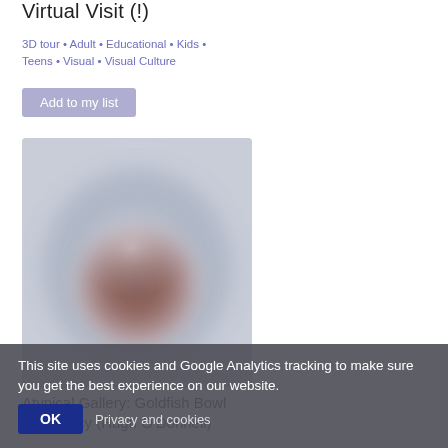Virtual Visit (!)
3D tour • Adult • Educational • Kids • Teens • Visual • Visual Culture
Add to my list
[Figure (photo): Blurred artwork or sculpture photo, warm reddish-brown tones with light blue-grey background]
Atypical Gallery: Goldfish Bowl Residency (Hugh O'Donnell)
This site uses cookies and Google Analytics tracking to make sure you get the best experience on our website.
OK   Privacy and cookies